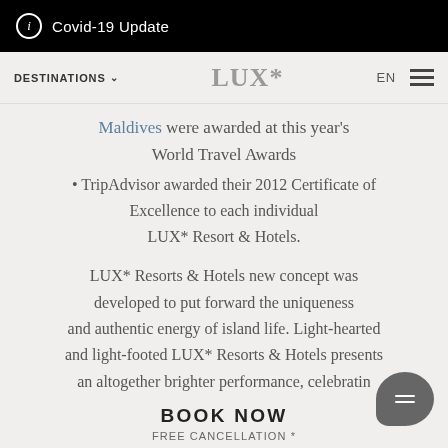ⓘ Covid-19 Update
DESTINATIONS ∨  LUX*  EN ☰
Maldives were awarded at this year's World Travel Awards
• TripAdvisor awarded their 2012 Certificate of Excellence to each individual LUX* Resort & Hotels.
LUX* Resorts & Hotels new concept was developed to put forward the uniqueness and authentic energy of island life. Light-hearted and light-footed LUX* Resorts & Hotels presents an altogether brighter performance, celebratin
BOOK NOW
FREE CANCELLATION *